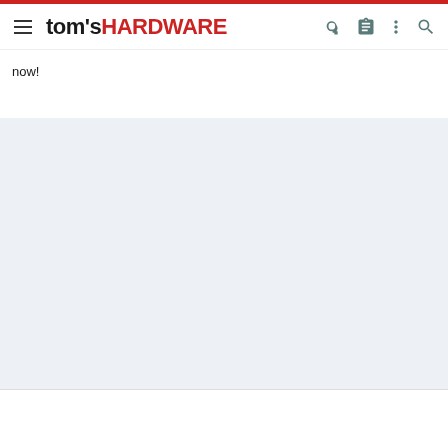tom's HARDWARE
now!
[Figure (other): Light gray placeholder content area]